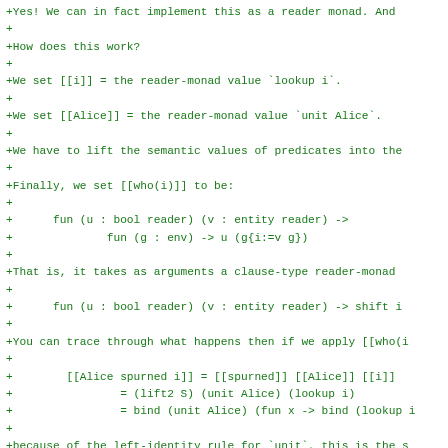+Yes! We can in fact implement this as a reader monad. And
+
+How does this work?
+
+We set [[i]] = the reader-monad value `lookup i`.
+
+We set [[Alice]] = the reader-monad value `unit Alice`.
+
+We have to lift the semantic values of predicates into the
+
+Finally, we set [[who(i)]] to be:
+
+      fun (u : bool reader) (v : entity reader) ->
+              fun (g : env) -> u (g{i:=v g})
+
+That is, it takes as arguments a clause-type reader-monad
+
+      fun (u : bool reader) (v : entity reader) -> shift i
+
+You can trace through what happens then if we apply [[who(i
+
+        [[Alice spurned i]] = [[spurned]] [[Alice]] [[i]]
+                = (lift2 S) (unit Alice) (lookup i)
+                = bind (unit Alice) (fun x -> bind (lookup i
+
+because of the left-identity rule for `unit`, this is the s
+
+                = bind (lookup i) (fun y -> unit (S Alice y)
+
+Substituting in the definition of `bind` for the reader-mon
+
+                = fun e -> (fun y -> unit (S Alice y)) (look